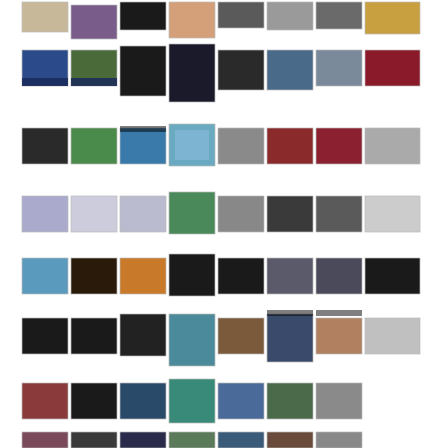[Figure (screenshot): Grid of video/image thumbnails arranged in multiple rows, showing various artistic, performance, and interview content. Approximately 8 columns and 8+ rows of small rectangular thumbnails, some portrait-oriented and some landscape-oriented, showing dancers, artworks, speakers, and digital content.]